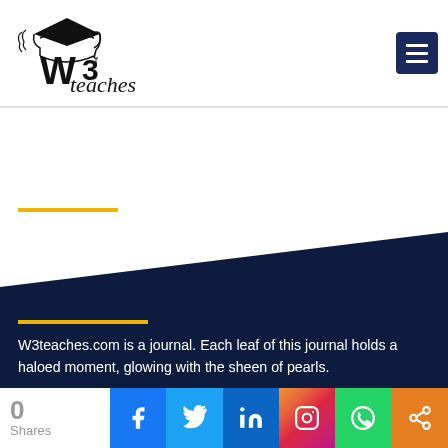[Figure (logo): W3teaches logo with graduation cap and stylized W3teaches text]
[Figure (other): Dark navy blue diagonal section background]
W3teaches.com is a journal. Each leaf of this journal holds a haloed moment, glowing with the sheen of pearls.
0
Shares
[Figure (infographic): Social sharing bar with Facebook, Twitter, LinkedIn, Instagram, WhatsApp, and share buttons]